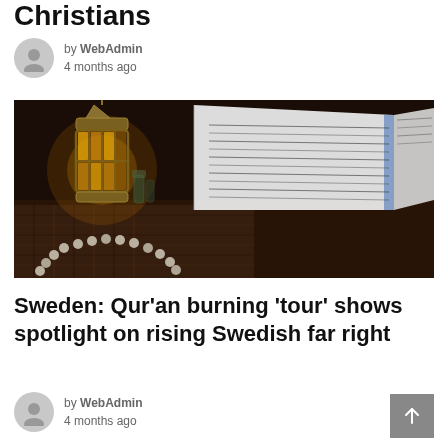Christians
by WebAdmin
4 months ago
[Figure (photo): Dark atmospheric photograph showing an ornate brass lantern with glowing amber light, an open book (Quran) with Arabic text, prayer beads, and small glass bottles arranged on a woven surface with dark wooden background.]
Sweden: Qur’an burning ‘tour’ shows spotlight on rising Swedish far right
by WebAdmin
4 months ago